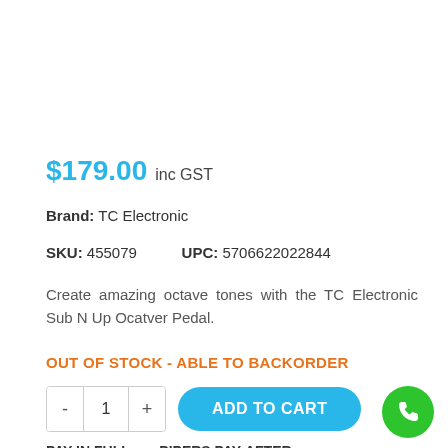$179.00 inc GST
Brand: TC Electronic
SKU: 455079   UPC: 5706622022844
Create amazing octave tones with the TC Electronic Sub N Up Ocatver Pedal.
OUT OF STOCK - ABLE TO BACKORDER
PAY IN FULL  or  PIPERS PAY-AFTER